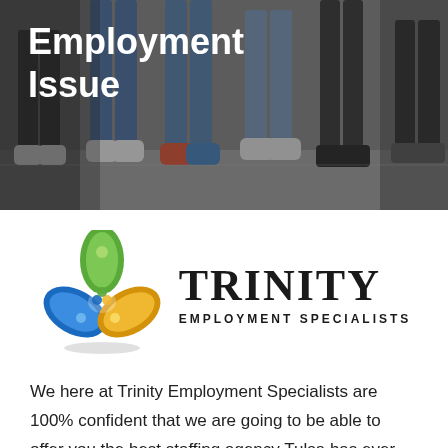[Figure (photo): Hero image showing people's legs and feet standing in a group, with a dark overlay background]
Employment Issue
[Figure (logo): Trinity Employment Specialists logo: three-leaf swoosh design in green, blue, and yellow/gold colors, with 'TRINITY' in large serif font and 'EMPLOYMENT SPECIALISTS' beneath]
We here at Trinity Employment Specialists are 100% confident that we are going to be able to offer you the best staffing agency Tulsa has ever seen. We do